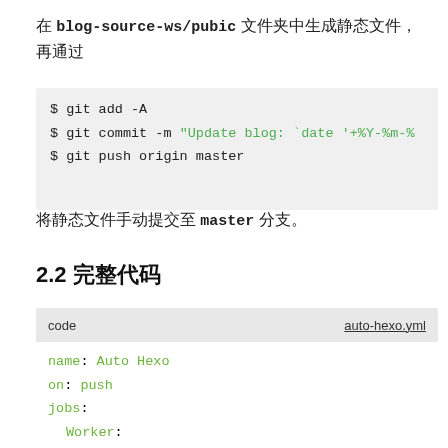在 blog-source-ws/pubic 文件夹中生成静态文件，再通过
$ git add -A
$ git commit -m "Update blog: `date '+%Y-%m-%
$ git push origin master
将静态文件手动提交至 master 分支。
2.2 完整代码
code  auto-hexo.yml
name: Auto Hexo
on: push
jobs:
  Worker: